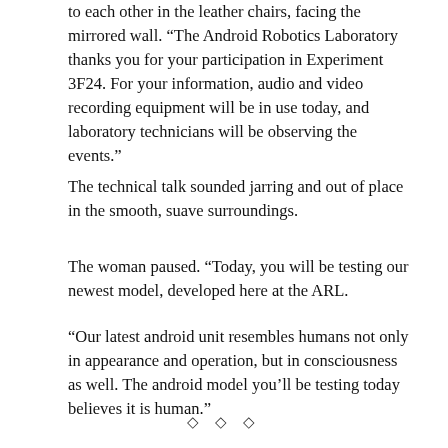to each other in the leather chairs, facing the mirrored wall. “The Android Robotics Laboratory thanks you for your participation in Experiment 3F24. For your information, audio and video recording equipment will be in use today, and laboratory technicians will be observing the events.”
The technical talk sounded jarring and out of place in the smooth, suave surroundings.
The woman paused. “Today, you will be testing our newest model, developed here at the ARL.
“Our latest android unit resembles humans not only in appearance and operation, but in consciousness as well. The android model you’ll be testing today believes it is human.”
◇ ◇ ◇